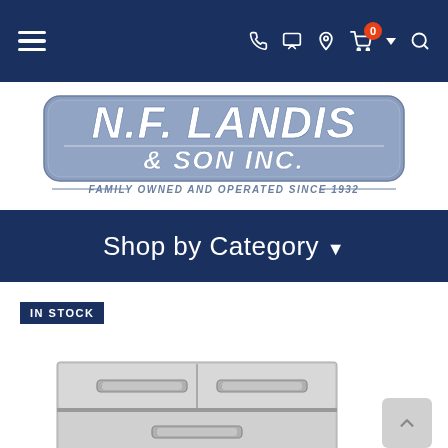[Figure (screenshot): Dark navy navigation bar with hamburger menu on left, phone, text, location, cart (with 0 badge), dropdown arrow, and search icons on right]
[Figure (logo): N.F. Landis & Son Inc. logo - gray rounded rectangle badge with white text, tagline: Family Owned and Operated Since 1932]
Shop by Category
IN STOCK
[Figure (photo): Stainless steel double access drawer unit for outdoor kitchen or grill island]